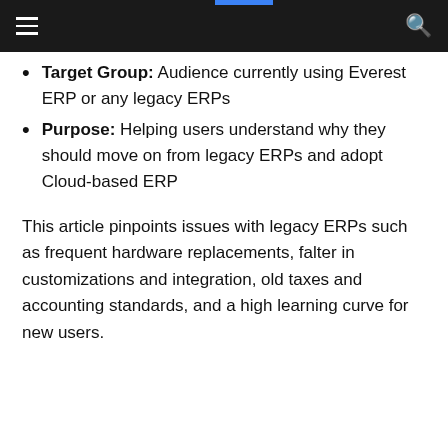Target Group: Audience currently using Everest ERP or any legacy ERPs
Purpose: Helping users understand why they should move on from legacy ERPs and adopt Cloud-based ERP
This article pinpoints issues with legacy ERPs such as frequent hardware replacements, falter in customizations and integration, old taxes and accounting standards, and a high learning curve for new users.